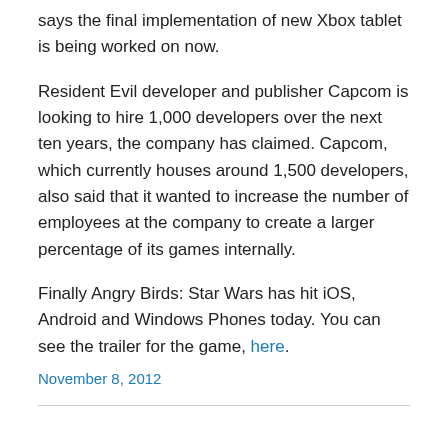says the final implementation of new Xbox tablet is being worked on now.
Resident Evil developer and publisher Capcom is looking to hire 1,000 developers over the next ten years, the company has claimed. Capcom, which currently houses around 1,500 developers, also said that it wanted to increase the number of employees at the company to create a larger percentage of its games internally.
Finally Angry Birds: Star Wars has hit iOS, Android and Windows Phones today. You can see the trailer for the game, here.
November 8, 2012